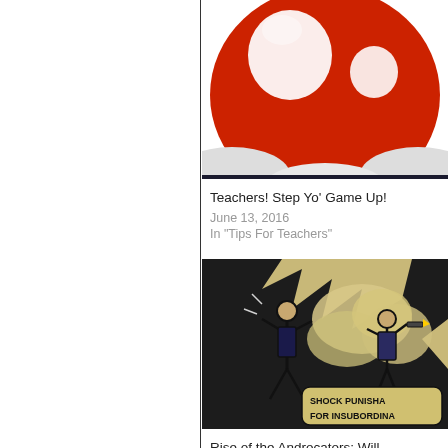[Figure (illustration): Super Mario red mushroom power-up illustration, cropped at top]
Teachers! Step Yo' Game Up!
June 13, 2016
In "Tips For Teachers"
[Figure (illustration): Black and white comic strip showing two figures, one being shocked, with text 'SHOCK PUNISHMENT FOR INSUBORDINA...']
Rise of the Androcators: Will Machines Take Over The Teaching Profession?